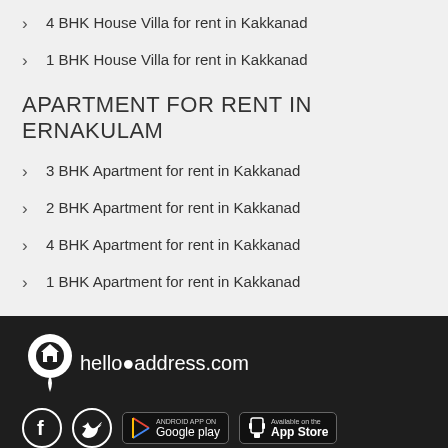4 BHK House Villa for rent in Kakkanad
1 BHK House Villa for rent in Kakkanad
APARTMENT FOR RENT IN ERNAKULAM
3 BHK Apartment for rent in Kakkanad
2 BHK Apartment for rent in Kakkanad
4 BHK Apartment for rent in Kakkanad
1 BHK Apartment for rent in Kakkanad
[Figure (logo): helloaddress.com logo with house pin icon in white on dark background]
[Figure (infographic): Social media icons (Facebook, Twitter) and app store badges (Google Play, App Store) on dark background]